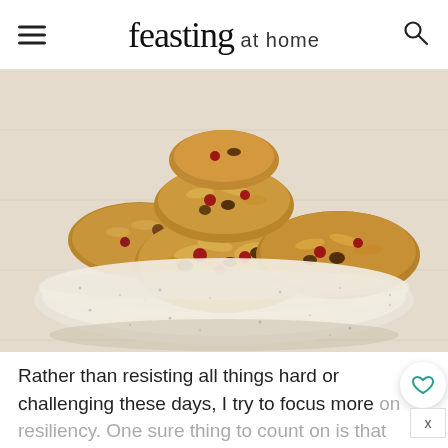feasting at home
[Figure (photo): A ceramic speckled white bowl filled with oatmeal cookies containing cranberries and chocolate chips, photographed on a white wooden surface]
Rather than resisting all things hard or challenging these days, I try to focus more on resiliency.  One sure thing to count on is that everything will always ebb and flow.  So